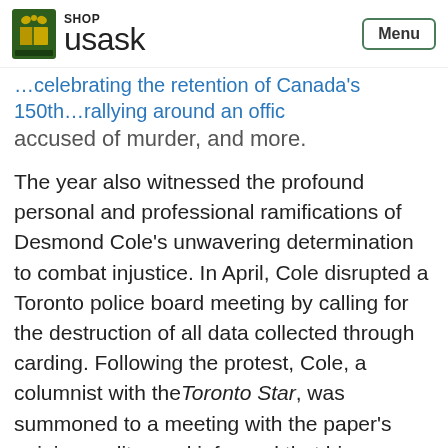SHOP usask [Menu button]
…celebrating the retention of Canada's 150th…rallying around an officer accused of murder, and more.
The year also witnessed the profound personal and professional ramifications of Desmond Cole's unwavering determination to combat injustice. In April, Cole disrupted a Toronto police board meeting by calling for the destruction of all data collected through carding. Following the protest, Cole, a columnist with the Toronto Star, was summoned to a meeting with the paper's opinions editor and informed that his activism violated company policy. Rather than limit his efforts defending Black lives, Cole chose to sever his relationship with the publication. Then in July, at another police board meeting, Cole challenged the board to respond to accusations of a police cover-up in the brutal beating of Dafonte Miller by an off-duty police officer and his brother. When